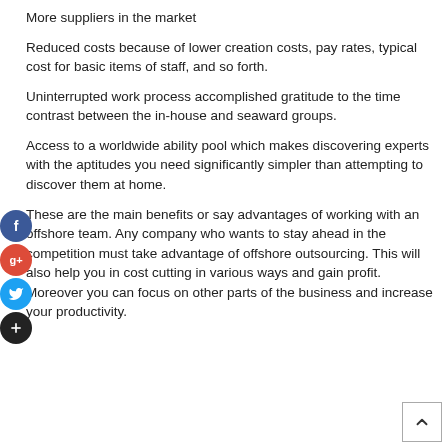More suppliers in the market
Reduced costs because of lower creation costs, pay rates, typical cost for basic items of staff, and so forth.
Uninterrupted work process accomplished gratitude to the time contrast between the in-house and seaward groups.
Access to a worldwide ability pool which makes discovering experts with the aptitudes you need significantly simpler than attempting to discover them at home.
These are the main benefits or say advantages of working with an offshore team. Any company who wants to stay ahead in the competition must take advantage of offshore outsourcing. This will also help you in cost cutting in various ways and gain profit. Moreover you can focus on other parts of the business and increase your productivity.